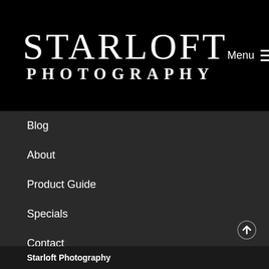STARLOFT PHOTOGRAPHY
Blog
About
Product Guide
Specials
Contact
Book Your Session
Starloft Photography